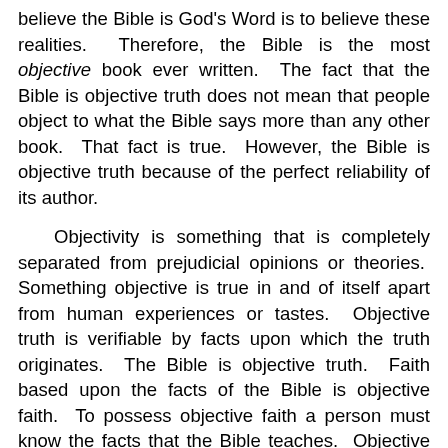believe the Bible is God's Word is to believe these realities. Therefore, the Bible is the most objective book ever written. The fact that the Bible is objective truth does not mean that people object to what the Bible says more than any other book. That fact is true. However, the Bible is objective truth because of the perfect reliability of its author.
Objectivity is something that is completely separated from prejudicial opinions or theories. Something objective is true in and of itself apart from human experiences or tastes. Objective truth is verifiable by facts upon which the truth originates. The Bible is objective truth. Faith based upon the facts of the Bible is objective faith. To possess objective faith a person must know the facts that the Bible teaches. Objective faith is the kind of faith exemplified in Hebrews chapter eleven. Satan's goal is to question and undermine